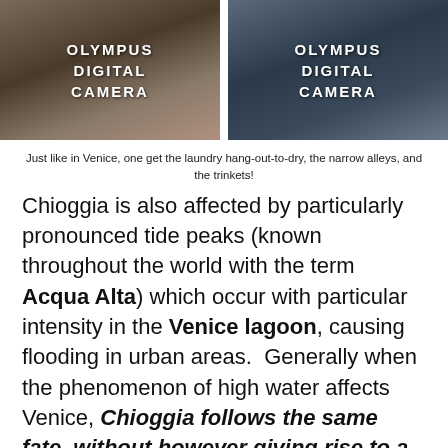[Figure (photo): Two photos side by side, both labeled OLYMPUS DIGITAL CAMERA. Left photo shows a street scene with warm tones. Right photo shows a darker scene with cool tones.]
Just like in Venice, one get the laundry hang-out-to-dry, the narrow alleys, and the trinkets!
Chioggia is also affected by particularly pronounced tide peaks (known throughout the world with the term Acqua Alta) which occur with particular intensity in the Venice lagoon, causing flooding in urban areas.  Generally when the phenomenon of high water affects Venice, Chioggia follows the same fate, without however giving rise to a significant media impact, but with identical negative consequences for houses, buildings and commercial activities.